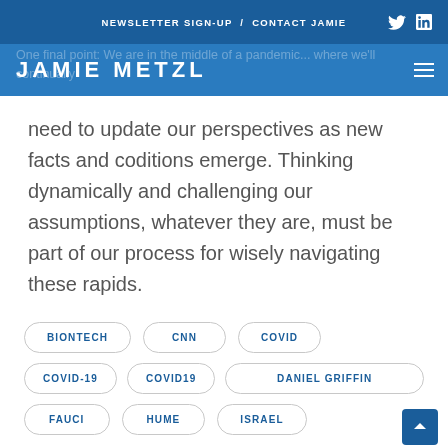NEWSLETTER SIGN-UP / CONTACT JAMIE
JAMIE METZL
One final point: We are in the middle of a pandemic where we'll continually need to update our perspectives as new facts and coditions emerge. Thinking dynamically and challenging our assumptions, whatever they are, must be part of our process for wisely navigating these rapids.
BIONTECH
CNN
COVID
COVID-19
COVID19
DANIEL GRIFFIN
FAUCI
HUME
ISRAEL